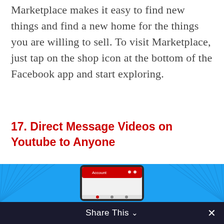Marketplace makes it easy to find new things and find a new home for the things you are willing to sell. To visit Marketplace, just tap on the shop icon at the bottom of the Facebook app and start exploring.
17. Direct Message Videos on Youtube to Anyone
[Figure (screenshot): Screenshot of a smartphone showing the YouTube app Account screen with a red header, displayed against a bright blue background with decorative fan/leaf patterns on the sides.]
Share This ∨  ✕